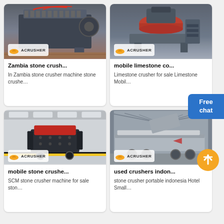[Figure (photo): Jaw crusher machine photographed in industrial setting, with ACRUSHER logo badge]
Zambia stone crush...
In Zambia stone crusher machine stone crushe…
[Figure (photo): Cone crusher machine photographed in outdoor industrial yard, with ACRUSHER logo badge]
mobile limestone co...
Limestone crusher for sale Limestone Mobil…
[Figure (photo): Mobile impact crusher inside large factory hall, with ACRUSHER logo badge]
mobile stone crushe...
SCM stone crusher machine for sale ston…
[Figure (photo): Large mobile crusher/screening plant in industrial hall, with ACRUSHER logo badge and scroll-to-top button overlay]
used crushers indon...
stone crusher portable indonesia Hotel Small…